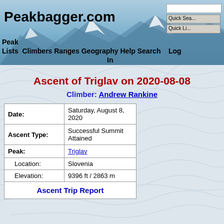Peakbagger.com | Peak Lists | Climbers | Ranges | Geography | Help | Search | Log In
Ascent of Triglav on 2020-08-08
Climber: Andrew Rankine
| Field | Value |
| --- | --- |
| Date: | Saturday, August 8, 2020 |
| Ascent Type: | Successful Summit Attained |
| Peak: | Triglav |
| Location: | Slovenia |
| Elevation: | 9396 ft / 2863 m |
Ascent Trip Report